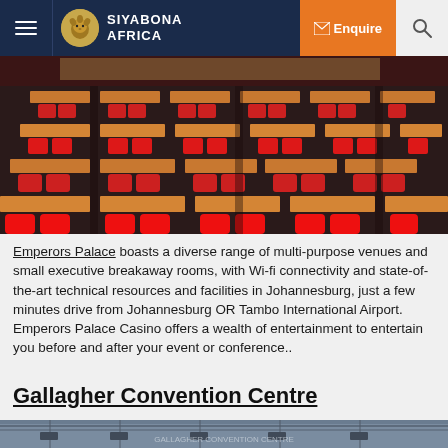SIYABONA AFRICA
[Figure (photo): Large conference hall with rows of wooden desks and red chairs set up in classroom style, photographed from the front showing a stage area in the background]
Emperors Palace boasts a diverse range of multi-purpose venues and small executive breakaway rooms, with Wi-fi connectivity and state-of-the-art technical resources and facilities in Johannesburg, just a few minutes drive from Johannesburg OR Tambo International Airport. Emperors Palace Casino offers a wealth of entertainment to entertain you before and after your event or conference..
Gallagher Convention Centre
[Figure (photo): Exterior or interior view of Gallagher Convention Centre building]